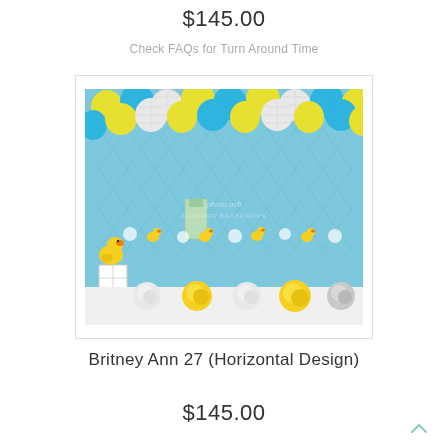$145.00
Check FAQs for Turn Around Time
[Figure (photo): Product photo of a photography backdrop featuring yellow, blue, and white balloons arranged in a garland along the top, a light blue diamond-patterned wall, small rubber duck cutouts along the wall, a large rubber duck toy on a white box, and yellow, white, and gray tissue paper pom poms on the floor. Watermark reads 'photo avb FLOORED BACKDROPS'.]
Britney Ann 27 (Horizontal Design)
$145.00